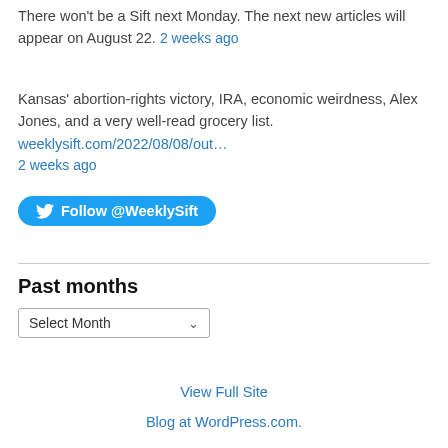There won't be a Sift next Monday. The next new articles will appear on August 22. 2 weeks ago
Kansas' abortion-rights victory, IRA, economic weirdness, Alex Jones, and a very well-read grocery list. weeklysift.com/2022/08/08/out… 2 weeks ago
[Figure (other): Follow @WeeklySift button on Twitter]
Past months
Select Month dropdown
View Full Site
Blog at WordPress.com.